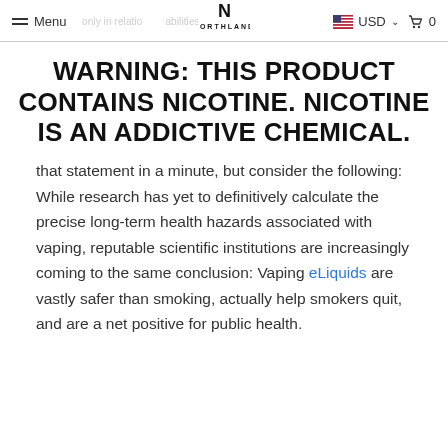Menu  [Northland logo]  USD  0
WARNING: THIS PRODUCT CONTAINS NICOTINE. NICOTINE IS AN ADDICTIVE CHEMICAL.
that statement in a minute, but consider the following:
While research has yet to definitively calculate the precise long-term health hazards associated with vaping, reputable scientific institutions are increasingly coming to the same conclusion: Vaping eLiquids are vastly safer than smoking, actually help smokers quit, and are a net positive for public health.